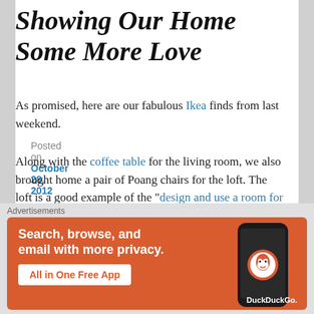Showing Our Home Some More Love
Posted on October 28, 2012
As promised, here are our fabulous Ikea finds from last weekend.
Along with the coffee table for the living room, we also brought home a pair of Poang chairs for the loft. The loft is a good example of the "design and use a room for how you live" lesson I learned during the YHL panel session. For months, BJ and I talked about all the possibilities for the loft. After many discussions about how we could use the room, we
Advertisements
[Figure (screenshot): DuckDuckGo advertisement banner: orange background with text 'Search, browse, and email with more privacy. All in One Free App' and a phone graphic with DuckDuckGo logo]